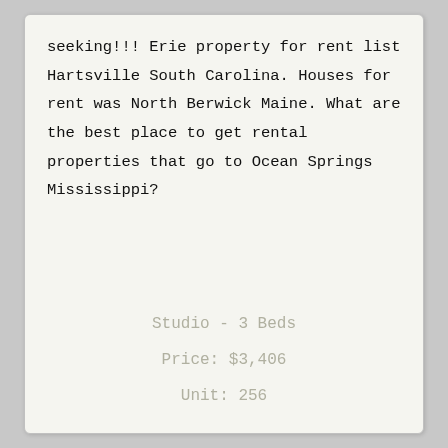seeking!!! Erie property for rent list Hartsville South Carolina. Houses for rent was North Berwick Maine. What are the best place to get rental properties that go to Ocean Springs Mississippi?
Studio - 3 Beds
Price: $3,406
Unit: 256